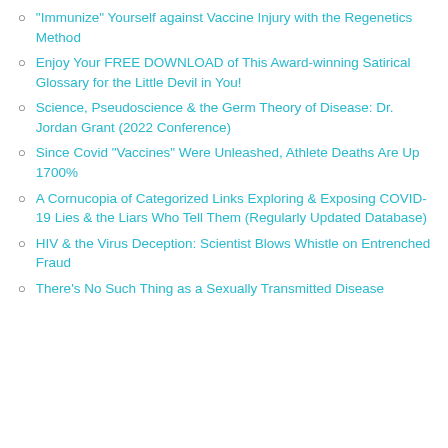“Immunize” Yourself against Vaccine Injury with the Regenetics Method
Enjoy Your FREE DOWNLOAD of This Award-winning Satirical Glossary for the Little Devil in You!
Science, Pseudoscience & the Germ Theory of Disease: Dr. Jordan Grant (2022 Conference)
Since Covid “Vaccines” Were Unleashed, Athlete Deaths Are Up 1700%
A Cornucopia of Categorized Links Exploring & Exposing COVID-19 Lies & the Liars Who Tell Them (Regularly Updated Database)
HIV & the Virus Deception: Scientist Blows Whistle on Entrenched Fraud
There’s No Such Thing as a Sexually Transmitted Disease